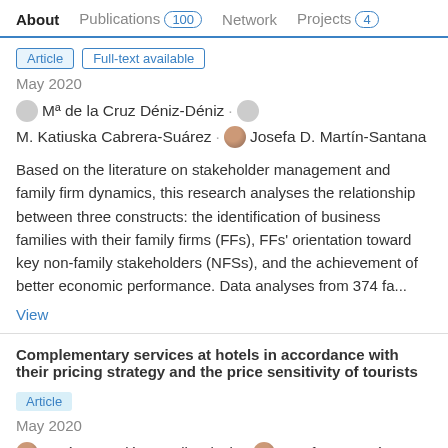About  Publications 100  Network  Projects 4
Article  Full-text available
May 2020
Mª de la Cruz Déniz-Déniz · M. Katiuska Cabrera-Suárez · Josefa D. Martín-Santana
Based on the literature on stakeholder management and family firm dynamics, this research analyses the relationship between three constructs: the identification of business families with their family firms (FFs), FFs' orientation toward key non-family stakeholders (NFSs), and the achievement of better economic performance. Data analyses from 374 fa...
View
Complementary services at hotels in accordance with their pricing strategy and the price sensitivity of tourists
Article
May 2020
María Asunción Beerli Palacio · Josefa D. Martín-